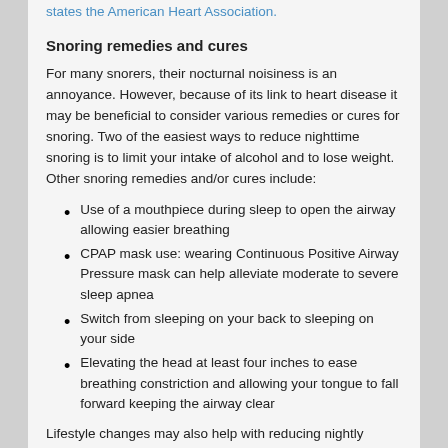states the American Heart Association.
Snoring remedies and cures
For many snorers, their nocturnal noisiness is an annoyance. However, because of its link to heart disease it may be beneficial to consider various remedies or cures for snoring. Two of the easiest ways to reduce nighttime snoring is to limit your intake of alcohol and to lose weight. Other snoring remedies and/or cures include:
Use of a mouthpiece during sleep to open the airway allowing easier breathing
CPAP mask use: wearing Continuous Positive Airway Pressure mask can help alleviate moderate to severe sleep apnea
Switch from sleeping on your back to sleeping on your side
Elevating the head at least four inches to ease breathing constriction and allowing your tongue to fall forward keeping the airway clear
Lifestyle changes may also help with reducing nightly snoring. Don't drink caffeine or eat heavy meals before bed and